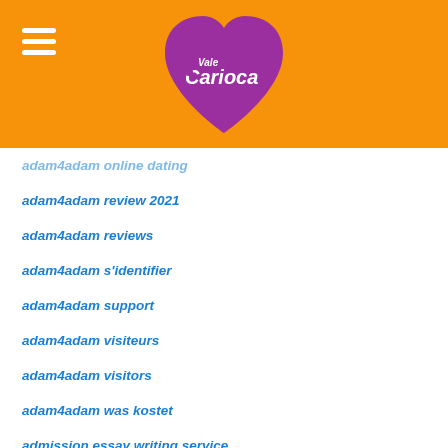[Figure (logo): Vale Carioca logo - purple heart shape with white script text 'Vale Carioca' on orange background with hamburger menu icon]
adam4adam online dating
adam4adam review 2021
adam4adam reviews
adam4adam s'identifier
adam4adam support
adam4adam visiteurs
adam4adam visitors
adam4adam was kostet
admission essay writing service
Adult Black Dating login
Adult dating app reviews
Adult dating chcete recenzi webu
Adult dating online
adult dating reviews